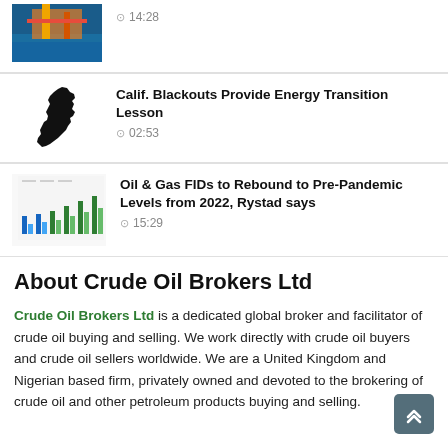[Figure (photo): Oil rig at sea, partially cropped at top]
14:28
[Figure (illustration): Silhouette of California state map]
Calif. Blackouts Provide Energy Transition Lesson
02:53
[Figure (bar-chart): Bar chart showing FID data]
Oil & Gas FIDs to Rebound to Pre-Pandemic Levels from 2022, Rystad says
15:29
About Crude Oil Brokers Ltd
Crude Oil Brokers Ltd is a dedicated global broker and facilitator of crude oil buying and selling. We work directly with crude oil buyers and crude oil sellers worldwide. We are a United Kingdom and Nigerian based firm, privately owned and devoted to the brokering of crude oil and other petroleum products buying and selling.